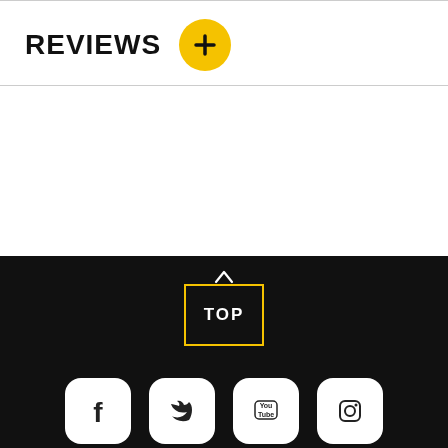REVIEWS +
[Figure (other): TOP button with upward arrow, yellow border on black background, scroll-to-top UI element]
[Figure (other): Social media icons row: Facebook, Twitter, YouTube, Instagram on black background with rounded white icon circles]